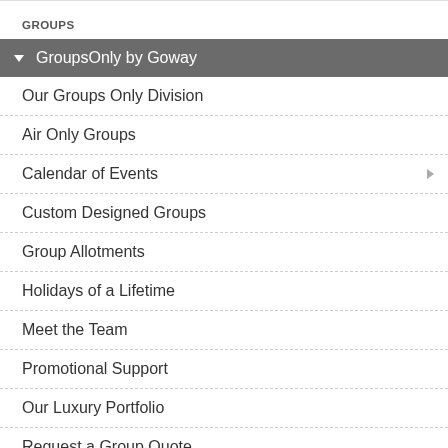GROUPS
GroupsOnly by Goway
Our Groups Only Division
Air Only Groups
Calendar of Events
Custom Designed Groups
Group Allotments
Holidays of a Lifetime
Meet the Team
Promotional Support
Our Luxury Portfolio
Request a Group Quote
Affinity Touring
Sample Group Itineraries
By Destination